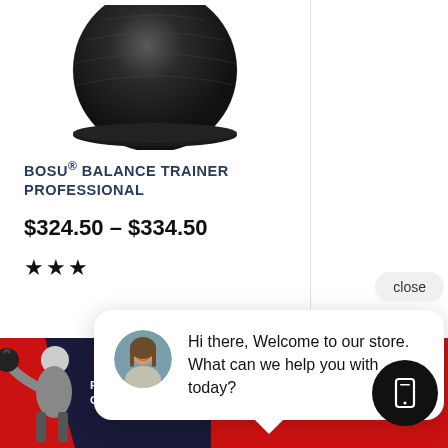[Figure (photo): BOSU balance trainer ball, black, photographed from above showing dome side down on white background]
BOSU® BALANCE TRAINER PROFESSIONAL
$324.50 – $334.50
★★★
close
[Figure (photo): Chat support avatar - woman with long brown hair smiling]
Hi there, Welcome to our store. What can we help you with today?
REACH YOUR GOALS WITH US
SHOP PRODUCTS